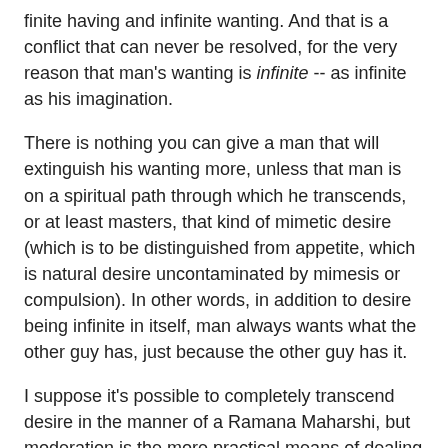finite having and infinite wanting. And that is a conflict that can never be resolved, for the very reason that man's wanting is infinite -- as infinite as his imagination.
There is nothing you can give a man that will extinguish his wanting more, unless that man is on a spiritual path through which he transcends, or at least masters, that kind of mimetic desire (which is to be distinguished from appetite, which is natural desire uncontaminated by mimesis or compulsion). In other words, in addition to desire being infinite in itself, man always wants what the other guy has, just because the other guy has it.
I suppose it's possible to completely transcend desire in the manner of a Ramana Maharshi, but moderation is the more practical means of dealing with it. As Dennis Prager recommends, you should give yourself little proscribed areas for the enactment of "moderate vice."
For example, with me, it's my Blue Note collection. Yesterday I snagged an out-of-print rarity from some poor sucker for only ten bucks, when they often go for the absurdly high